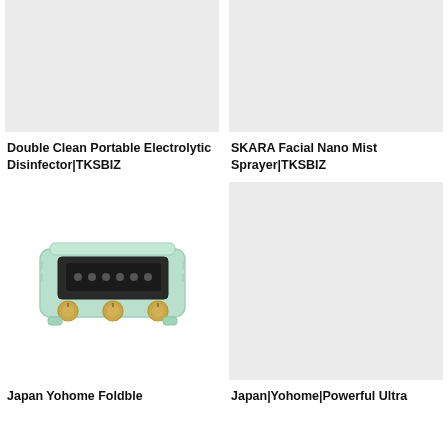[Figure (photo): Product image placeholder (light gray box) for Double Clean Portable Electrolytic Disinfector]
[Figure (photo): Product image placeholder (light gray box) for SKARA Facial Nano Mist Sprayer]
Double Clean Portable Electrolytic Disinfector|TKSBIZ
SKARA Facial Nano Mist Sprayer|TKSBIZ
[Figure (photo): Photo of Japan Yohome Foldable toaster oven appliance in mint/light green color with gold knobs and digital display]
[Figure (photo): Product image placeholder (light gray box) for Japan|Yohome|Powerful Ultra product]
Japan Yohome Foldable
Japan|Yohome|Powerful Ultra